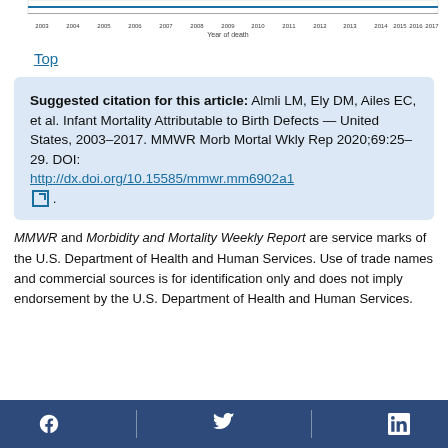[Figure (line-chart): Partial view of a line chart showing year of death on x-axis (2003–2017), cropped at top of page.]
Top
Suggested citation for this article: Almli LM, Ely DM, Ailes EC, et al. Infant Mortality Attributable to Birth Defects — United States, 2003–2017. MMWR Morb Mortal Wkly Rep 2020;69:25–29. DOI: http://dx.doi.org/10.15585/mmwr.mm6902a1 [external link icon] .
MMWR and Morbidity and Mortality Weekly Report are service marks of the U.S. Department of Health and Human Services. Use of trade names and commercial sources is for identification only and does not imply endorsement by the U.S. Department of Health and Human Services.
Facebook | Twitter | LinkedIn